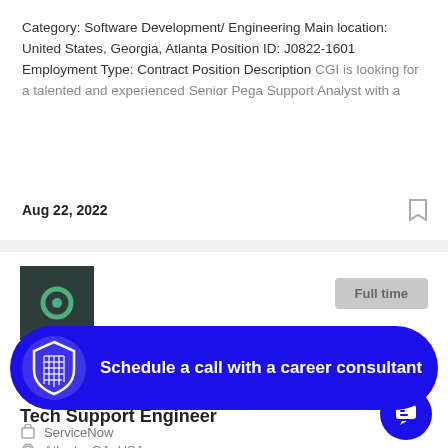Category: Software Development/ Engineering Main location: United States, Georgia, Atlanta Position ID: J0822-1601 Employment Type: Contract Position Description CGI is looking for a talented and experienced Senior Pega Support Analyst with a
Aug 22, 2022
[Figure (screenshot): Company logo on dark teal/green background with a circular icon]
Full time
[Figure (infographic): Blue rounded banner with shield logo and text: Schedule a call with a career consultant]
Tech Support Engineer
ServiceNow
Atlanta, GA, USA